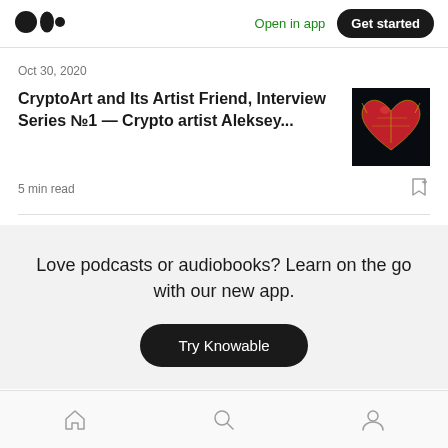[Figure (logo): Medium logo - three overlapping circles]
Open in app
Get started
Oct 30, 2020
CryptoArt and Its Artist Friend, Interview Series №1 — Crypto artist Aleksey...
[Figure (photo): Thumbnail image of a stylized red anatomical heart with golden outlines on black background]
5 min read
Love podcasts or audiobooks? Learn on the go with our new app.
Try Knowable
[Figure (infographic): Bottom navigation bar with home, search, and profile icons]